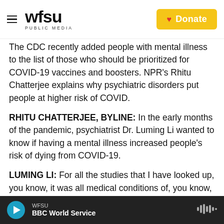WFSU PUBLIC MEDIA | Donate
The CDC recently added people with mental illness to the list of those who should be prioritized for COVID-19 vaccines and boosters. NPR's Rhitu Chatterjee explains why psychiatric disorders put people at higher risk of COVID.
RHITU CHATTERJEE, BYLINE: In the early months of the pandemic, psychiatrist Dr. Luming Li wanted to know if having a mental illness increased people's risk of dying from COVID-19.
LUMING LI: For all the studies that I have looked up, you know, it was all medical conditions of, you know, diabetes, heart disease, etc. etc.
WFSU | BBC World Service